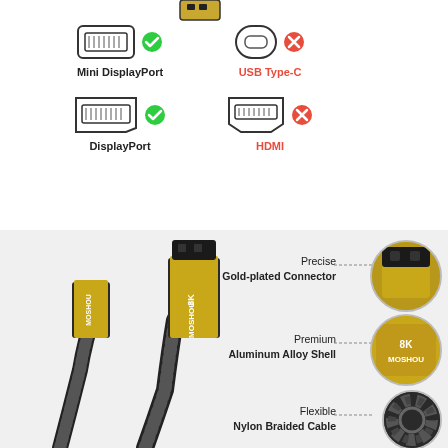[Figure (infographic): Product compatibility infographic showing Mini DisplayPort (compatible, green check) and USB Type-C (incompatible, red X) in top row; DisplayPort (compatible, green check) and HDMI (incompatible, red X) in bottom row.]
Mini DisplayPort
USB Type-C
DisplayPort
HDMI
[Figure (photo): MOSHOU 8K cable product photo showing two gold-plated connectors (Mini DisplayPort and DisplayPort) with nylon braided cable. Three circular callout images on the right: Precise Gold-plated Connector, Premium Aluminum Alloy Shell (labeled 8K MOSHOU), Flexible Nylon Braided Cable.]
Precise
Gold-plated Connector
Premium
Aluminum Alloy Shell
Flexible
Nylon Braided Cable